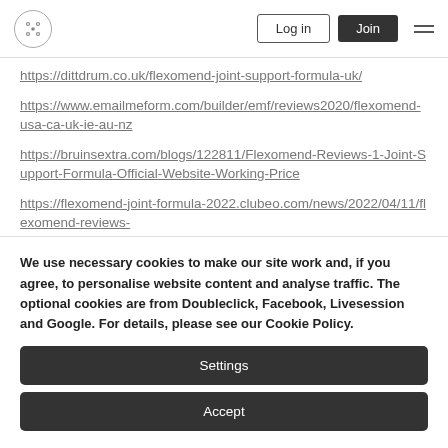Log in | Join
https://dittdrum.co.uk/flexomend-joint-support-formula-uk/
https://www.emailmeform.com/builder/emf/reviews2020/flexomend-usa-ca-uk-ie-au-nz
https://bruinsextra.com/blogs/122811/Flexomend-Reviews-1-Joint-Support-Formula-Official-Website-Working-Price
https://flexomend-joint-formula-2022.clubeo.com/news/2022/04/11/flexomend-reviews-
We use necessary cookies to make our site work and, if you agree, to personalise website content and analyse traffic. The optional cookies are from Doubleclick, Facebook, Livesession and Google. For details, please see our Cookie Policy.
Settings
Accept